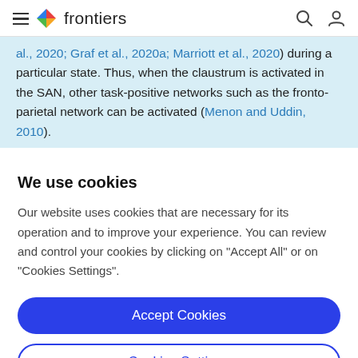frontiers
al., 2020; Graf et al., 2020a; Marriott et al., 2020) during a particular state. Thus, when the claustrum is activated in the SAN, other task-positive networks such as the fronto-parietal network can be activated (Menon and Uddin, 2010).
We use cookies
Our website uses cookies that are necessary for its operation and to improve your experience. You can review and control your cookies by clicking on "Accept All" or on "Cookies Settings".
Accept Cookies
Cookies Settings